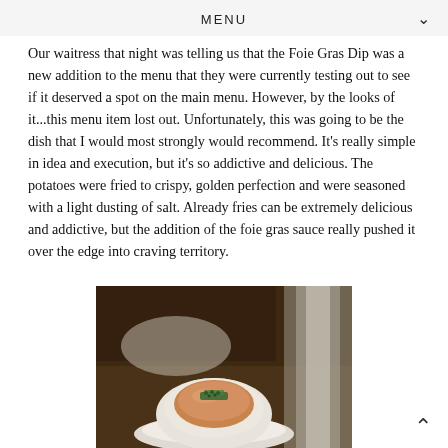MENU
Our waitress that night was telling us that the Foie Gras Dip was a new addition to the menu that they were currently testing out to see if it deserved a spot on the main menu. However, by the looks of it...this menu item lost out. Unfortunately, this was going to be the dish that I would most strongly would recommend. It's really simple in idea and execution, but it's so addictive and delicious. The potatoes were fried to crispy, golden perfection and were seasoned with a light dusting of salt. Already fries can be extremely delicious and addictive, but the addition of the foie gras sauce really pushed it over the edge into craving territory.
[Figure (photo): A white bowl containing an orange-colored foie gras dipping sauce garnished with chopped green herbs, placed on a white plate. A tall glass is visible in the upper right background. The setting appears to be a restaurant table.]